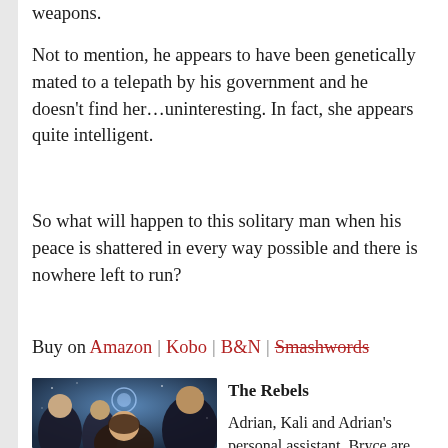weapons.
Not to mention, he appears to have been genetically mated to a telepath by his government and he doesn't find her…uninteresting. In fact, she appears quite intelligent.
So what will happen to this solitary man when his peace is shattered in every way possible and there is nowhere left to run?
Buy on Amazon | Kobo | B&N | Smashwords
[Figure (photo): Book cover showing three men and a woman against a sci-fi blue background with a glowing orb]
The Rebels
Adrian, Kali and Adrian's personal assistant, Bryce are finally free of the